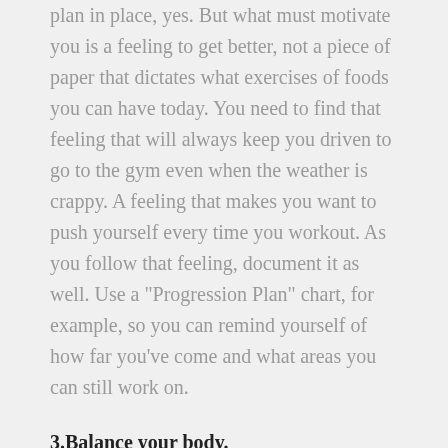plan in place, yes. But what must motivate you is a feeling to get better, not a piece of paper that dictates what exercises of foods you can have today. You need to find that feeling that will always keep you driven to go to the gym even when the weather is crappy. A feeling that makes you want to push yourself every time you workout. As you follow that feeling, document it as well. Use a "Progression Plan" chart, for example, so you can remind yourself of how far you've come and what areas you can still work on.
3.Balance your body.
Balance is key to all aspects of life, especially when you are trying to lose some fat. A